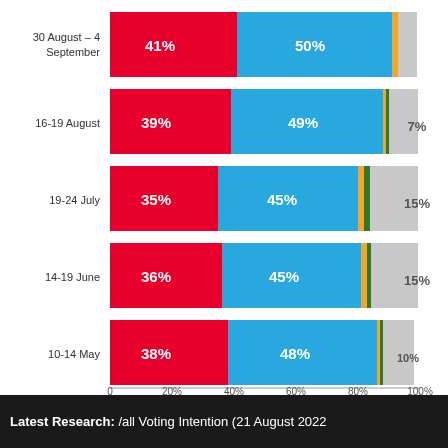[Figure (stacked-bar-chart): Voting Intention]
Latest Research: /all Voting Intention (21 August 2022